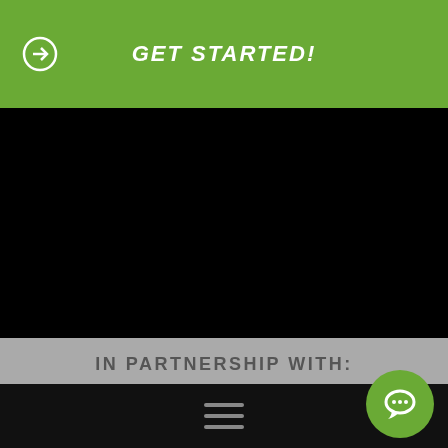GET STARTED!
[Figure (other): Black rectangular area representing a video or image placeholder]
IN PARTNERSHIP WITH:
[Figure (logo): CrossFit Journal logo in a rounded rectangle box]
Hamburger menu icon and chat bubble icon